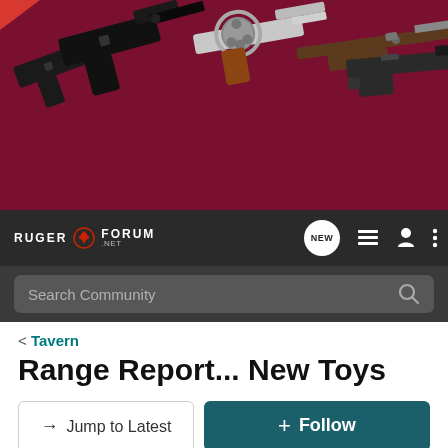[Figure (screenshot): Ruger Forum website header banner showing multiple firearms (pistols, revolver, rifle, shotgun) on a dark red/maroon background]
[Figure (screenshot): Ruger Forum navigation bar with logo, NEW button, list icon, user icon, and menu icon, plus search bar below]
< Tavern
Range Report... New Toys
→ Jump to Latest
+ Follow
1 - 8 of 8 Posts
RNettles · Registered
Joined Aug 20, 2006 · 5,004 Posts